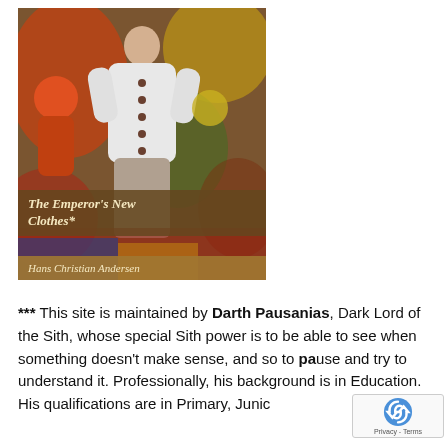[Figure (illustration): Book cover of 'The Emperor's New Clothes' by Hans Christian Andersen, showing a painted illustration of a figure in a white shirt with buttons, surrounded by colorful painted background with orange, green, and brown tones. Title text appears in a brown band in the lower portion and author name in a golden-brown band at the bottom.]
*** This site is maintained by Darth Pausanias, Dark Lord of the Sith, whose special Sith power is to be able to see when something doesn't make sense, and so to pause and try to understand it. Professionally, his background is in Education. His qualifications are in Primary, Junior Intermediate, and secondary education with additional qualifications